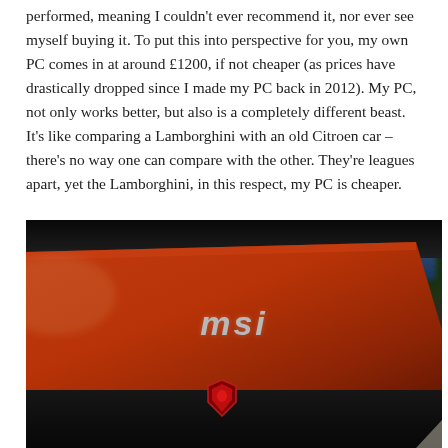performed, meaning I couldn't ever recommend it, nor ever see myself buying it. To put this into perspective for you, my own PC comes in at around £1200, if not cheaper (as prices have drastically dropped since I made my PC back in 2012). My PC, not only works better, but also is a completely different beast. It's like comparing a Lamborghini with an old Citroen car – there's no way one can compare with the other. They're leagues apart, yet the Lamborghini, in this respect, my PC is cheaper.
[Figure (photo): Close-up photo of an MSI gaming laptop lid, showing the red and black design with the silver italic 'msi' logo text in the center, and a small dragon shield badge at the bottom. Green and blue bokeh visible in the background.]